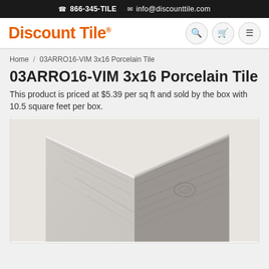866-345-TILE  info@discounttile.com
[Figure (logo): Discount Tile logo in orange bold text with registered trademark symbol]
Home / 03ARRO16-VIM 3x16 Porcelain Tile
03ARRO16-VIM 3x16 Porcelain Tile
This product is priced at $5.39 per sq ft and sold by the box with 10.5 square feet per box.
[Figure (photo): Close-up photo of porcelain tiles with a wood-grain texture in light gray and darker gray tones, arranged at an angle showing the tile surface and edge.]